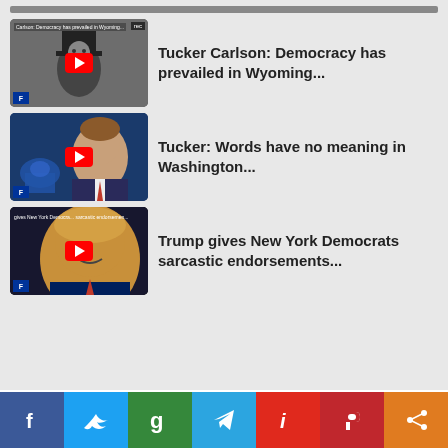[Figure (screenshot): Video thumbnail: Tucker Carlson Democracy has prevailed in Wyoming - black and white image with man in top hat, YouTube play button overlay]
Tucker Carlson: Democracy has prevailed in Wyoming...
[Figure (screenshot): Video thumbnail: Tucker Carlson in front of Capitol building, YouTube play button overlay]
Tucker: Words have no meaning in Washington...
[Figure (screenshot): Video thumbnail: Trump gives New York Democrats sarcastic endorsements - Trump speaking at podium, YouTube play button overlay]
Trump gives New York Democrats sarcastic endorsements...